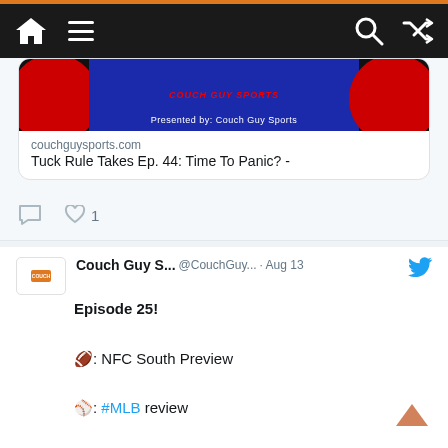Navigation bar with home, menu, search, and shuffle icons
[Figure (screenshot): Partial tweet card showing a podcast image with 'Presented by: Couch Guy Sports' text on a dark background with red circular design]
couchguysports.com
Tuck Rule Takes Ep. 44: Time To Panic? -
1 like, 0 comments
Couch Guy S... @CouchGuy... · Aug 13
Episode 25!

🏈: NFC South Preview

⚾: #MLB review

🗣: @ladarius_brown
couchguysports.com/satw-episode-2...
[Figure (screenshot): Partial image showing red background with white circular design at bottom of page]